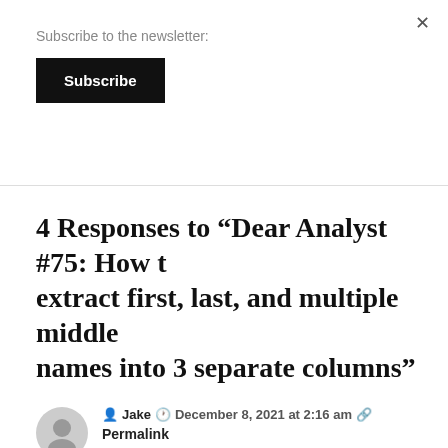Subscribe to the newsletter:
Subscribe
4 Responses to “Dear Analyst #75: How to extract first, last, and multiple middle names into 3 separate columns”
Jake  December 8, 2021 at 2:16 am  Permalink
Wow this really helped me. Thank you so much!
Reply